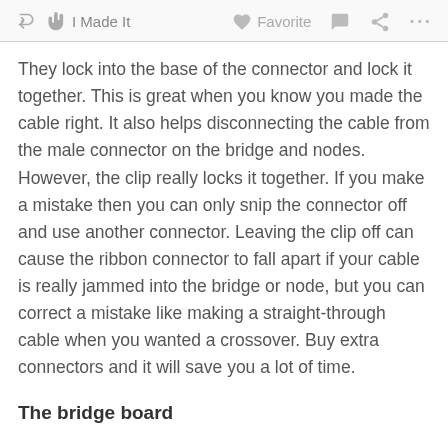I Made It   Favorite   ...
They lock into the base of the connector and lock it together. This is great when you know you made the cable right. It also helps disconnecting the cable from the male connector on the bridge and nodes. However, the clip really locks it together. If you make a mistake then you can only snip the connector off and use another connector. Leaving the clip off can cause the ribbon connector to fall apart if your cable is really jammed into the bridge or node, but you can correct a mistake like making a straight-through cable when you wanted a crossover. Buy extra connectors and it will save you a lot of time.
The bridge board